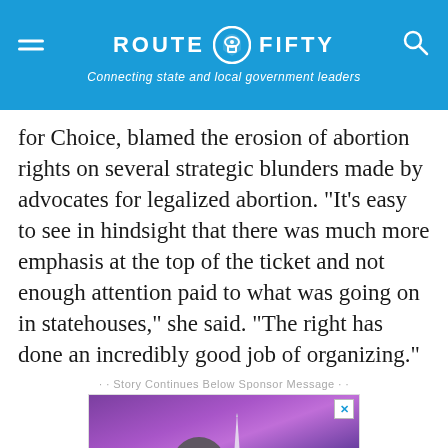ROUTE FIFTY — Connecting state and local government leaders
for Choice, blamed the erosion of abortion rights on several strategic blunders made by advocates for legalized abortion. "It's easy to see in hindsight that there was much more emphasis at the top of the ticket and not enough attention paid to what was going on in statehouses," she said. "The right has done an incredibly good job of organizing."
· · Story Continues Below Sponsor Message · ·
[Figure (photo): Advertisement banner with purple/violet DC skyline background showing Washington Monument and binoculars viewer in foreground, with large white text 'Ready' partially visible]